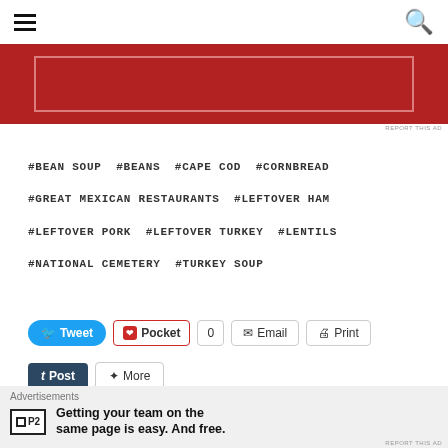≡ [hamburger menu] [search icon]
[Figure (other): Red advertisement banner with light border]
REPORT THIS AD
#BEAN SOUP  #BEANS  #CAPE COD  #CORNBREAD  #GREAT MEXICAN RESTAURANTS  #LEFTOVER HAM  #LEFTOVER PORK  #LEFTOVER TURKEY  #LENTILS  #NATIONAL CEMETERY  #TURKEY SOUP
Tweet  Pocket  0  Email  Print  Post  More
Loading...
[Figure (other): Close/X circle button]
Advertisements
Getting your team on the same page is easy. And free.
REPORT THIS AD